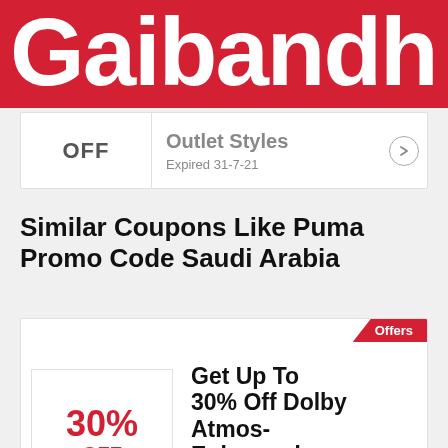Gaibandh
OFF
Outlet Styles
Expired 31-7-21
Similar Coupons Like Puma Promo Code Saudi Arabia
Offers
30% OFF
Get Up To 30% Off Dolby Atmos-Enhanced Movies
Expires 16-11-22
All Microsoft Coupons